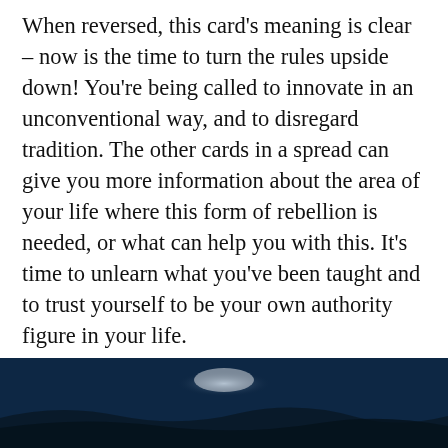When reversed, this card's meaning is clear – now is the time to turn the rules upside down! You're being called to innovate in an unconventional way, and to disregard tradition. The other cards in a spread can give you more information about the area of your life where this form of rebellion is needed, or what can help you with this. It's time to unlearn what you've been taught and to trust yourself to be your own authority figure in your life.
[Figure (photo): Bottom portion of a dark blue atmospheric photo, appears to show a figure or object against a dramatic dark blue sky or water background with light highlights.]